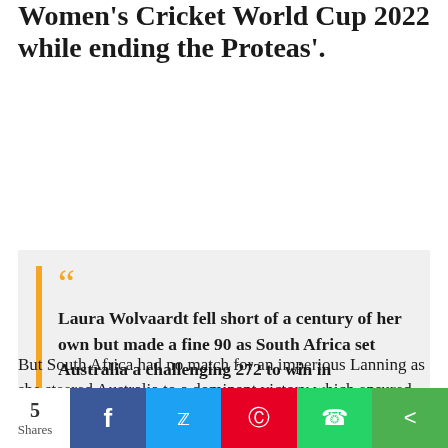Women's Cricket World Cup 2022 while ending the Proteas'.
Laura Wolvaardt fell short of a century of her own but made a fine 90 as South Africa set Australia a challenging 272 to win in Wellington.
But South Africa had no match for an imperious Lanning as she steered Australia to a dominant victory which ensured they would finish no lower than second.
Having been put in to bat, Wolvaardt and Lizelle Lee reached 88 runs for South Africa's highest
5 Shares  f  t  p  w  <